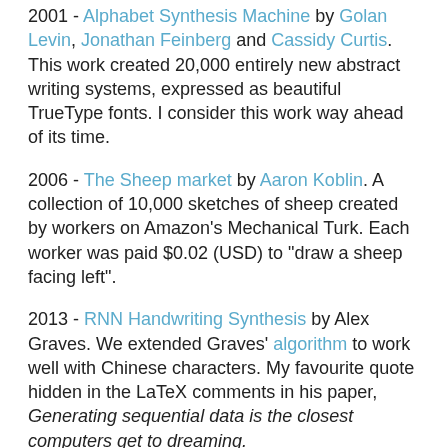2001 - Alphabet Synthesis Machine by Golan Levin, Jonathan Feinberg and Cassidy Curtis. This work created 20,000 entirely new abstract writing systems, expressed as beautiful TrueType fonts. I consider this work way ahead of its time.
2006 - The Sheep market by Aaron Koblin. A collection of 10,000 sketches of sheep created by workers on Amazon's Mechanical Turk. Each worker was paid $0.02 (USD) to "draw a sheep facing left".
2013 - RNN Handwriting Synthesis by Alex Graves. We extended Graves' algorithm to work well with Chinese characters. My favourite quote hidden in the LaTeX comments in his paper, Generating sequential data is the closest computers get to dreaming.
2015 - A Book from the Sky 天書, Exploring the Latent Space of Chinese Handwriting, by Gene Kogan. This approach uses the Alex Radford's implementation of the DCGAN algorithm to train on a rasterised Chinese handwriting